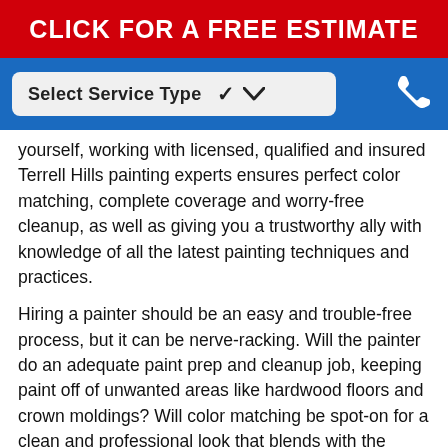CLICK FOR A FREE ESTIMATE
[Figure (other): Dropdown selector labeled 'Select Service Type' with a chevron, on a blue navigation bar with a phone icon]
yourself, working with licensed, qualified and insured Terrell Hills painting experts ensures perfect color matching, complete coverage and worry-free cleanup, as well as giving you a trustworthy ally with knowledge of all the latest painting techniques and practices.
Hiring a painter should be an easy and trouble-free process, but it can be nerve-racking. Will the painter do an adequate paint prep and cleanup job, keeping paint off of unwanted areas like hardwood floors and crown moldings? Will color matching be spot-on for a clean and professional look that blends with the surrounding areas? Will the painters respect your home, family and personal space while the job is being completed?